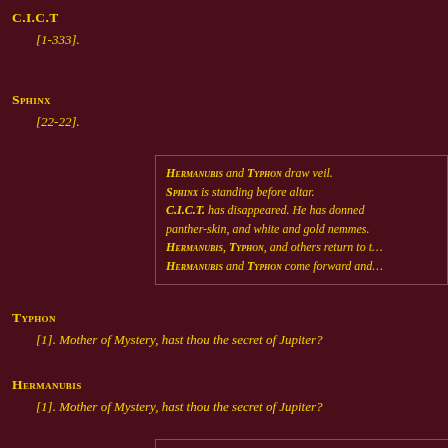C.I.C.T
[1-333].
Sphinx
[22-22].
Hermanubis and Typhon draw veil. Sphinx is standing before altar. C.I.C.T. has disappeared. He has donned panther-skin, and white and gold nemmes. Hermanubis, Typhon, and others return to t... Hermanubis and Typhon come forward and...
Typhon
[1]. Mother of Mystery, hast thou the secret of Jupiter?
Hermanubis
[1]. Mother of Mystery, hast thou the secret of Jupiter?